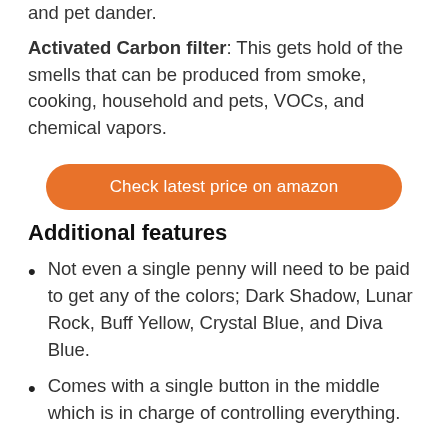and pet dander.
Activated Carbon filter: This gets hold of the smells that can be produced from smoke, cooking, household and pets, VOCs, and chemical vapors.
[Figure (other): Orange rounded button with text 'Check latest price on amazon']
Additional features
Not even a single penny will need to be paid to get any of the colors; Dark Shadow, Lunar Rock, Buff Yellow, Crystal Blue, and Diva Blue.
Comes with a single button in the middle which is in charge of controlling everything.